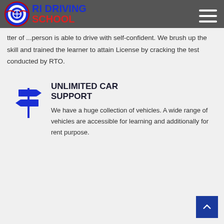RI DRIVING SCHOOL
...a matter of ...person is able to drive with self-confident. We brush up the skill and trained the learner to attain License by cracking the test conducted by RTO.
UNLIMITED CAR SUPPORT
We have a huge collection of vehicles. A wide range of vehicles are accessible for learning and additionally for rent purpose.